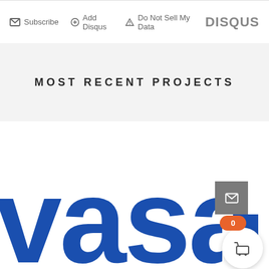Subscribe  Add Disqus  Do Not Sell My Data  DISQUS
MOST RECENT PROJECTS
[Figure (logo): Partial view of 'vasad' text logo in large bold blue letters, cut off at right edge]
[Figure (infographic): UI elements: scroll-to-top button (grey, upward chevron), mail/envelope button (dark grey), cart button with orange badge showing '0']